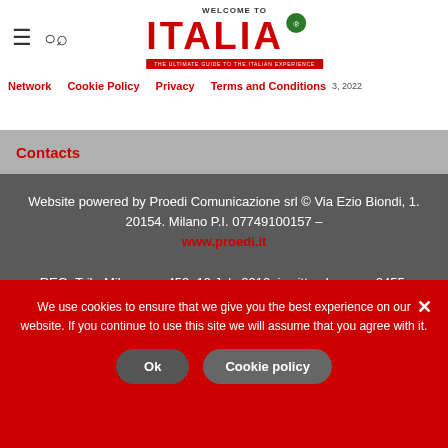WELCOME TO ITALIA® — THE ULTIMATE GUIDE TO THE ITALIAN EXPERIENCE
Network | Cookie Policy | Privacy | Terms and Conditions | Saturday, September 3, 2022
Contacts
Website powered by Proedi Comunicazione srl © Via Ezio Biondi, 1. 20154. Milano P.I. 07749100157 – www.proedi.it REG. Trib. Milano no. 453, 19 July 2010, iscritto al roc no. 2455. Direttore responsabile: Andrea Jarach
We use cookies to ensure that we give you the best experience on our website. If you continue to use this site we will assume that you agree with it.